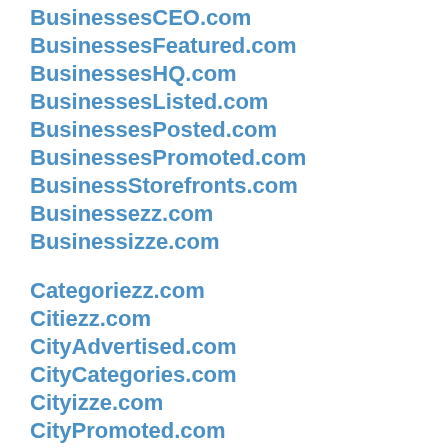BusinessesCEO.com
BusinessesFeatured.com
BusinessesHQ.com
BusinessesListed.com
BusinessesPosted.com
BusinessesPromoted.com
BusinessStorefronts.com
Businessezz.com
Businessizze.com
Categoriezz.com
Citiezz.com
CityAdvertised.com
CityCategories.com
Cityizze.com
CityPromoted.com
Communitiezz.com